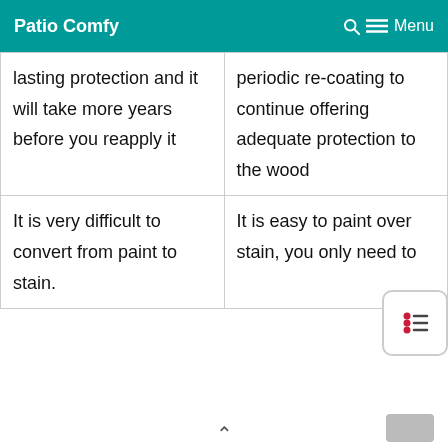Patio Comfy   Menu
| lasting protection and it will take more years before you reapply it | periodic re-coating to continue offering adequate protection to the wood |
| It is very difficult to convert from paint to stain. | It is easy to paint over stain, you only need to |